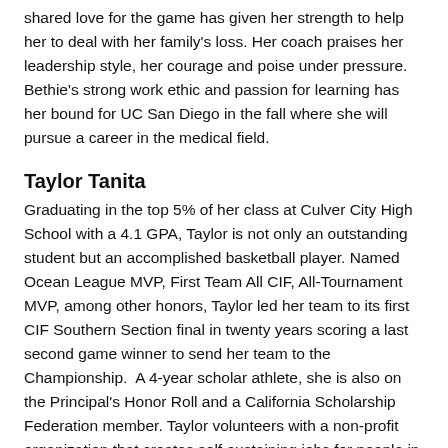shared love for the game has given her strength to help her to deal with her family's loss. Her coach praises her leadership style, her courage and poise under pressure. Bethie's strong work ethic and passion for learning has her bound for UC San Diego in the fall where she will pursue a career in the medical field.
Taylor Tanita
Graduating in the top 5% of her class at Culver City High School with a 4.1 GPA, Taylor is not only an outstanding student but an accomplished basketball player. Named Ocean League MVP, First Team All CIF, All-Tournament MVP, among other honors, Taylor led her team to its first CIF Southern Section final in twenty years scoring a last second game winner to send her team to the Championship. A 4-year scholar athlete, she is also on the Principal's Honor Roll and a California Scholarship Federation member. Taylor volunteers with a non-profit organization that creates self-sustaining jobs for people in underdeveloped countries. She has committed to play basketball at UC San Diego where she plans to major in math or economics.
Kylie Mizushima